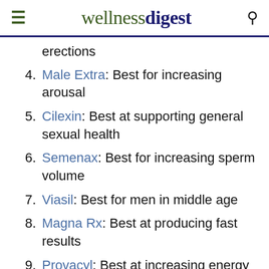wellnessdigest
erections
4. Male Extra: Best for increasing arousal
5. Cilexin: Best at supporting general sexual health
6. Semenax: Best for increasing sperm volume
7. Viasil: Best for men in middle age
8. Magna Rx: Best at producing fast results
9. Provacyl: Best at increasing energy levels
10. Genf20: Best at reversing signs of age
11. Nexus Pheromones: Best for attracting